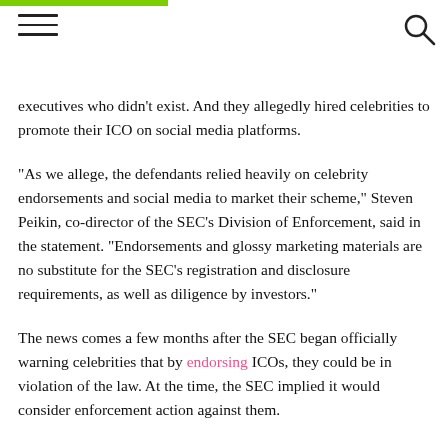executives who didn't exist. And they allegedly hired celebrities to promote their ICO on social media platforms.
“As we allege, the defendants relied heavily on celebrity endorsements and social media to market their scheme,” Steven Peikin, co-director of the SEC’s Division of Enforcement, said in the statement. “Endorsements and glossy marketing materials are no substitute for the SEC’s registration and disclosure requirements, as well as diligence by investors.”
The news comes a few months after the SEC began officially warning celebrities that by endorsing ICOs, they could be in violation of the law. At the time, the SEC implied it would consider enforcement action against them.